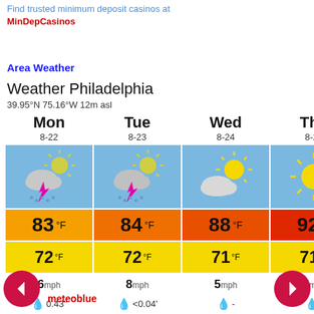Find trusted minimum deposit casinos at MinDepCasinos
Area Weather
Weather Philadelphia
39.95°N 75.16°W 12m asl
[Figure (infographic): 4-day weather forecast widget for Philadelphia showing Mon 8-22, Tue 8-23, Wed 8-24, Thu 8-25 with weather icons, high temps 83/84/88/92°F, low temps 72/72/71/71°F, wind 6/8/5/5 mph, precipitation 0.43"/< 0.04"/-/-, probability 99%/49%/5%/9%]
meteoblue